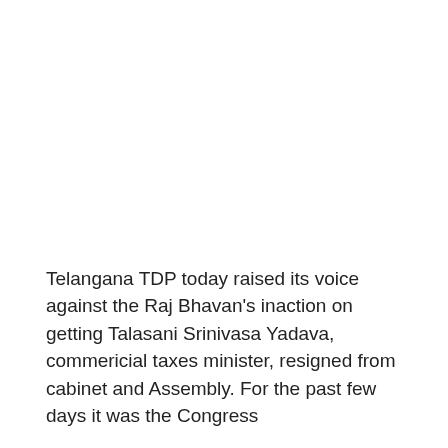Telangana TDP today raised its voice against the Raj Bhavan's inaction on getting Talasani Srinivasa Yadava, commericial taxes minister, resigned from cabinet and Assembly. For the past few days it was the Congress